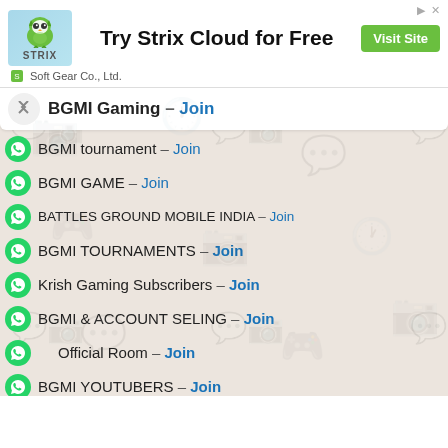[Figure (screenshot): Strix Cloud advertisement banner with owl logo, 'Try Strix Cloud for Free' text, and 'Visit Site' green button, with 'Soft Gear Co., Ltd.' subtitle]
BGMI Gaming – Join
BGMI tournament – Join
BGMI GAME – Join
BATTLES GROUND MOBILE INDIA – Join
BGMI TOURNAMENTS – Join
Krish Gaming Subscribers – Join
BGMI & ACCOUNT SELING – Join
Official Room – Join
BGMI YOUTUBERS – Join
BGMI UC – Join
BGMI YT SUPPORT – Join
BGMI TOURNAMENT UPDATE – Join